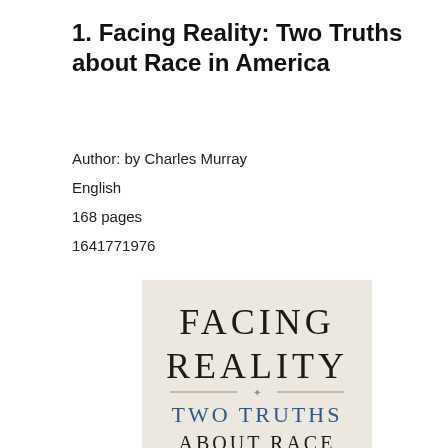1. Facing Reality: Two Truths about Race in America
Author: by Charles Murray
English
168 pages
1641771976
[Figure (illustration): Book cover of 'Facing Reality: Two Truths about Race in America' by Charles Murray. Cream/beige background with large serif text 'FACING REALITY' at the top, a decorative horizontal divider, and below it in blue serif text 'TWO TRUTHS' and partially visible 'ABOUT RACE'.]